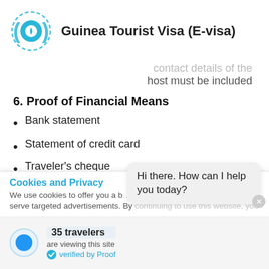Guinea Tourist Visa (E-visa)
contact details of the host must be included
6. Proof of Financial Means
Bank statement
Statement of credit card
Traveler's cheque
Debit or Credit Cards
Other
Cookies and Privacy
We use cookies to offer you a better experience, serve targeted advertisements. By continuing to use this website, you
Hi there. How can I help you today?
35 travelers
are viewing this site
verified by Proof